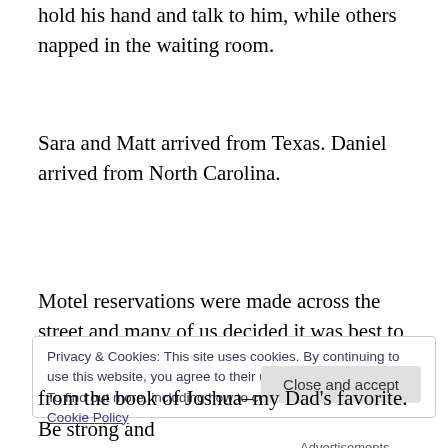hold his hand and talk to him, while others napped in the waiting room.
Sara and Matt arrived from Texas. Daniel arrived from North Carolina.
[Figure (other): Advertisements banner with dark background]
Motel reservations were made across the street and many of us decided it was best to get a few hours of rest.
Privacy & Cookies: This site uses cookies. By continuing to use this website, you agree to their use.
To find out more, including how to control cookies, see here: Cookie Policy
from the book of Joshua–my Dad's favorite. Be strong and